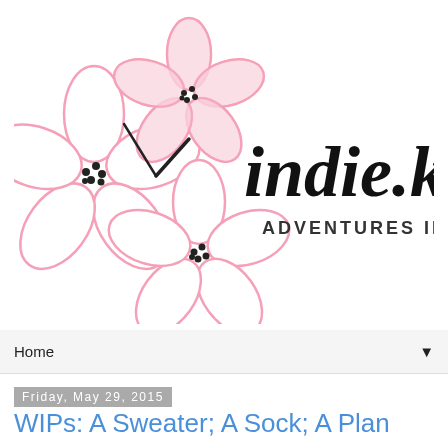[Figure (logo): indie.knits blog logo with pink cherry blossom flowers and cursive/bold text reading 'indie.knits ADVENTURES IN STYLE']
Home ▼
Friday, May 29, 2015
WIPs: A Sweater; A Sock; A Plan